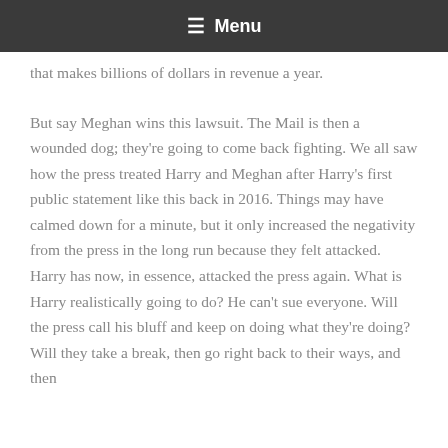≡ Menu
that makes billions of dollars in revenue a year.
But say Meghan wins this lawsuit. The Mail is then a wounded dog; they're going to come back fighting. We all saw how the press treated Harry and Meghan after Harry's first public statement like this back in 2016. Things may have calmed down for a minute, but it only increased the negativity from the press in the long run because they felt attacked. Harry has now, in essence, attacked the press again. What is Harry realistically going to do? He can't sue everyone. Will the press call his bluff and keep on doing what they're doing? Will they take a break, then go right back to their ways, and then